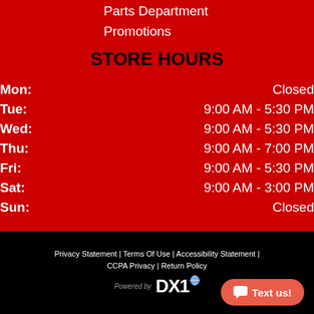Parts Department
Promotions
STORE HOURS
| Day | Hours |
| --- | --- |
| Mon: | Closed |
| Tue: | 9:00 AM - 5:30 PM |
| Wed: | 9:00 AM - 5:30 PM |
| Thu: | 9:00 AM - 7:00 PM |
| Fri: | 9:00 AM - 5:30 PM |
| Sat: | 9:00 AM - 3:00 PM |
| Sun: | Closed |
Privacy Statement | Terms Of Use | Accessibility Statement | CCPA Privacy | Return Policy
Powered by DX1